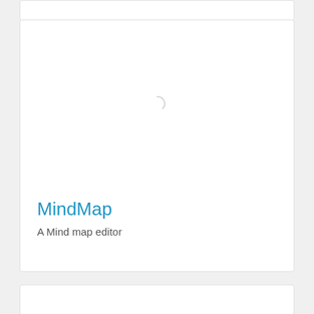[Figure (screenshot): Top partial card showing white background, clipped at top of page]
[Figure (screenshot): Main card with a loading spinner arc in center and MindMap app title and description at bottom]
MindMap
A Mind map editor
[Figure (screenshot): Bottom partial card showing white background, clipped at bottom of page]